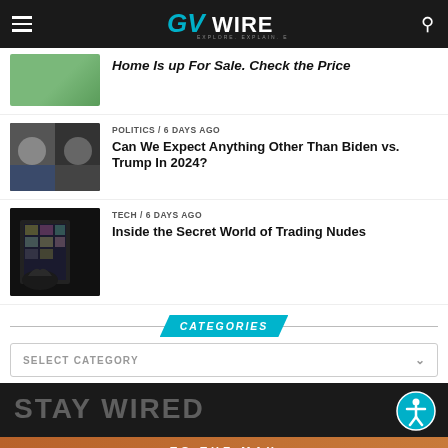GVWire – Explore. Explain. Expose.
Home Is up For Sale. Check the Price
POLITICS / 6 days ago
Can We Expect Anything Other Than Biden vs. Trump In 2024?
TECH / 6 days ago
Inside the Secret World of Trading Nudes
CATEGORIES
SELECT CATEGORY
[Figure (screenshot): Stay Wired promotional banner with accessibility icon]
STAY WIRED